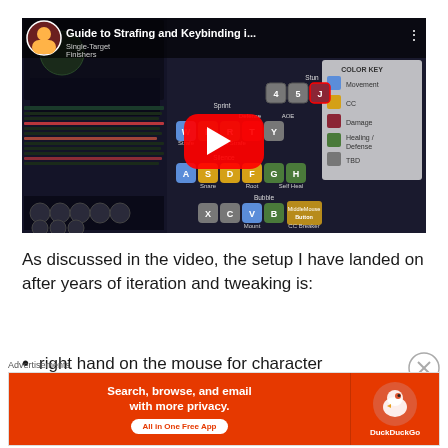[Figure (screenshot): YouTube video thumbnail for 'Guide to Strafing and Keybinding i...' showing a gaming keybinding layout with colored keys (movement blue, CC yellow, damage red, healing/defense green, TBD gray) over a dark game screenshot background with a YouTube play button overlay]
As discussed in the video, the setup I have landed on after years of iteration and tweaking is:
right hand on the mouse for character facing,
Advertisements
[Figure (infographic): DuckDuckGo advertisement banner: 'Search, browse, and email with more privacy. All in One Free App' with orange background and DuckDuckGo logo on the right]